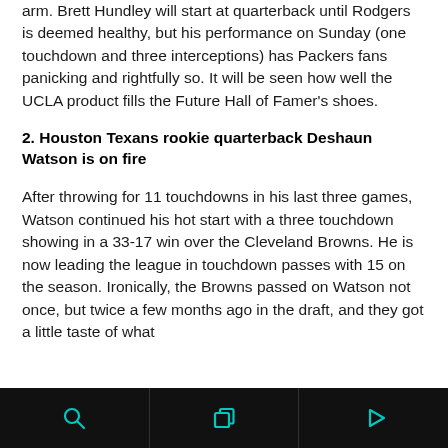arm. Brett Hundley will start at quarterback until Rodgers is deemed healthy, but his performance on Sunday (one touchdown and three interceptions) has Packers fans panicking and rightfully so. It will be seen how well the UCLA product fills the Future Hall of Famer's shoes.
2. Houston Texans rookie quarterback Deshaun Watson is on fire
After throwing for 11 touchdowns in his last three games, Watson continued his hot start with a three touchdown showing in a 33-17 win over the Cleveland Browns. He is now leading the league in touchdown passes with 15 on the season. Ironically, the Browns passed on Watson not once, but twice a few months ago in the draft, and they got a little taste of what
[navigation bar with search, copy, and play icons]